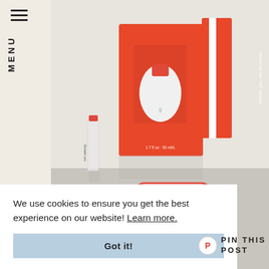[Figure (photo): Glossier You perfume product photo showing red/coral box with window, white frosted glass bottle inside, small sample vial with red cap, and Glossier sticker on a grey surface with light background]
We use cookies to ensure you get the best experience on our website! Learn more.
Got it!
PIN THIS POST